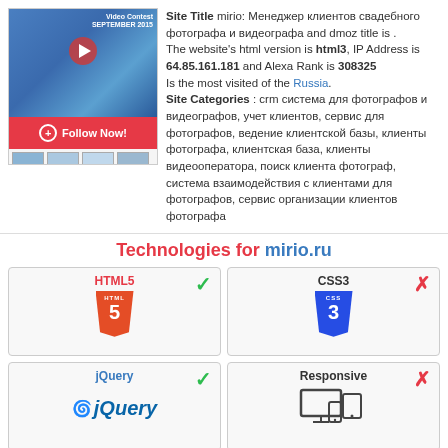[Figure (screenshot): Website screenshot thumbnail with video contest banner, Follow Now button, and thumbnail previews]
Site Title mirio: Менеджер клиентов свадебного фотографа и видеографа and dmoz title is . The website's html version is html3, IP Address is 64.85.161.181 and Alexa Rank is 308325 Is the most visited of the Russia. Site Categories : crm система для фотографов и видеографов, учет клиентов, сервис для фотографов, ведение клиентской базы, клиенты фотографа, клиентская база, клиенты видеооператора, поиск клиента фотограф, система взаимодействия с клиентами для фотографов, сервис организации клиентов фотографа
Technologies for mirio.ru
[Figure (infographic): HTML5 technology card with green checkmark, showing HTML5 shield logo]
[Figure (infographic): CSS3 technology card with red X mark, showing CSS3 shield logo]
[Figure (infographic): jQuery technology card with green checkmark, showing jQuery logo]
[Figure (infographic): Responsive technology card with red X mark, showing devices icon]
RATE (Update Weekly)